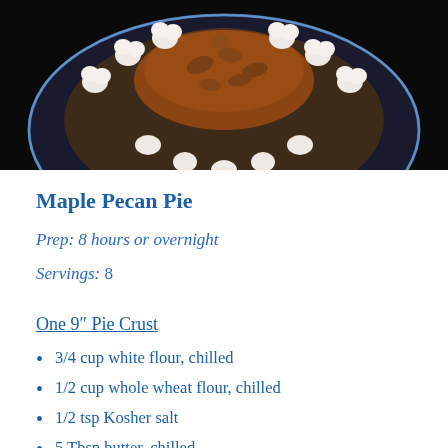[Figure (photo): A maple pecan pie in a glass pie dish, viewed from above, with decorative whipped cream rosettes around the edge and a pecan and maple syrup topping in the center, on a dark background.]
Maple Pecan Pie
Prep: 8 hours or overnight
Servings: 8
One 9" Pie Crust
3/4 cup white flour, chilled
1/2 cup whole wheat flour, chilled
1/2 tsp Kosher salt
5 Tbsp butter, chilled